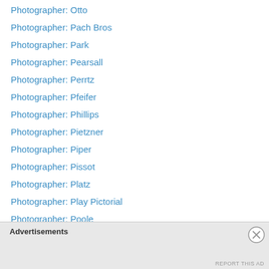Photographer: Otto
Photographer: Pach Bros
Photographer: Park
Photographer: Pearsall
Photographer: Perrtz
Photographer: Pfeifer
Photographer: Phillips
Photographer: Pietzner
Photographer: Piper
Photographer: Pissot
Photographer: Platz
Photographer: Play Pictorial
Photographer: Poole
Photographer: Poulsen
Photographer: Proctor
Photographer: Pulaski Photo Art Company
Photographer: Purdy
Advertisements
REPORT THIS AD